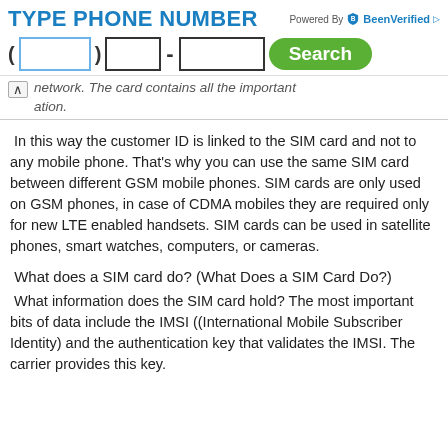TYPE PHONE NUMBER  Powered By BeenVerified
network.  The card contains all the important ation.
In this way the customer ID is linked to the SIM card and not to any mobile phone.  That's why you can use the same SIM card between different GSM mobile phones.  SIM cards are only used on GSM phones, in case of CDMA mobiles they are required only for new LTE enabled handsets.  SIM cards can be used in satellite phones, smart watches, computers, or cameras.
What does a SIM card do?  (What Does a SIM Card Do?)
What information does the SIM card hold?  The most important bits of data include the IMSI ((International Mobile Subscriber Identity) and the authentication key that validates the IMSI. The carrier provides this key.